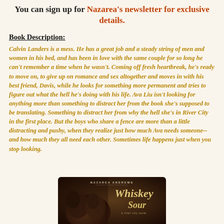You can sign up for Nazarea's newsletter for exclusive details.
Book Description:
Calvin Landers is a mess. He has a great job and a steady string of men and women in his bed, and has been in love with the same couple for so long he can't remember a time when he wasn't. Coming off fresh heartbreak, he's ready to move on, to give up on romance and sex altogether and moves in with his best friend, Davis, while he looks for something more permanent and tries to figure out what the hell he's doing with his life. Ava Liu isn't looking for anything more than something to distract her from the book she's supposed to be translating. Something to distract her from why the hell she's in River City in the first place. But the boys who share a fence are more than a little distracting and pushy, when they realize just how much Ava needs someone--and how much they all need each other. Sometimes life happens just when you stop looking.
[Figure (photo): Book cover of 'Whiskey Sour' by Nazarea Andrews showing people at night with stylized title text]